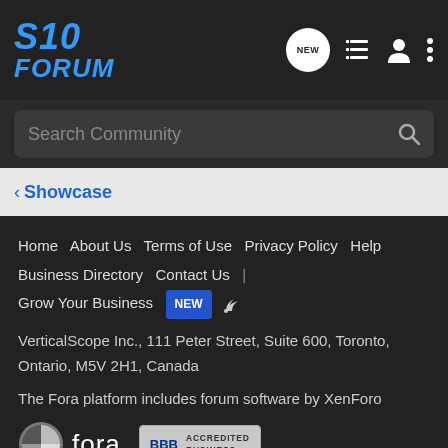S10 FORUM
Search Community
< Showcase
Home   About Us   Terms of Use   Privacy Policy   Help   Business Directory   Contact Us   |   Grow Your Business   NEW   RSS
VerticalScope Inc., 111 Peter Street, Suite 600, Toronto, Ontario, M5V 2H1, Canada
The Fora platform includes forum software by XenForo
[Figure (logo): Fora logo with stylized icon and 'fora' text, alongside BBB Accredited Business badge]